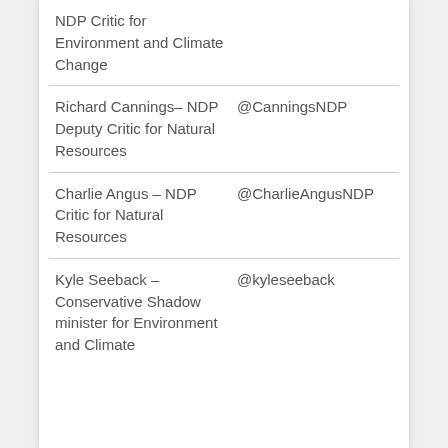| Name/Role | Twitter Handle |
| --- | --- |
| NDP Critic for Environment and Climate Change |  |
| Richard Cannings– NDP Deputy Critic for Natural Resources | @CanningsNDP |
| Charlie Angus – NDP Critic for Natural Resources | @CharlieAngusNDP |
| Kyle Seeback – Conservative Shadow minister for Environment and Climate | @kyleseeback |